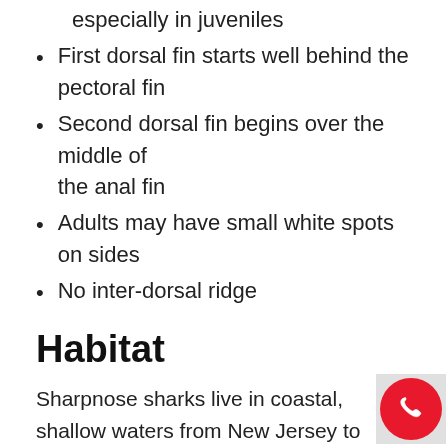especially in juveniles
First dorsal fin starts well behind the pectoral fin
Second dorsal fin begins over the middle of the anal fin
Adults may have small white spots on sides
No inter-dorsal ridge
Habitat
Sharpnose sharks live in coastal, shallow waters from New Jersey to Florida, often near surf zones, enclosed bays, sounds or harbors and marine to brackish estuaries. Adults also found offshore.
Diet